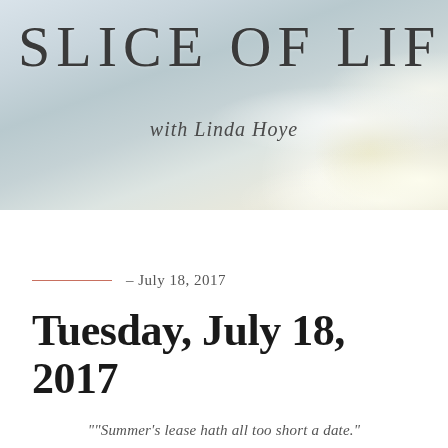[Figure (photo): Close-up photo of a white daisy flower with soft petals against a muted blue-grey background, partially cropped]
SLICE OF LIF
with Linda Hoye
– July 18, 2017
Tuesday, July 18, 2017
""Summer's lease hath all too short a date."